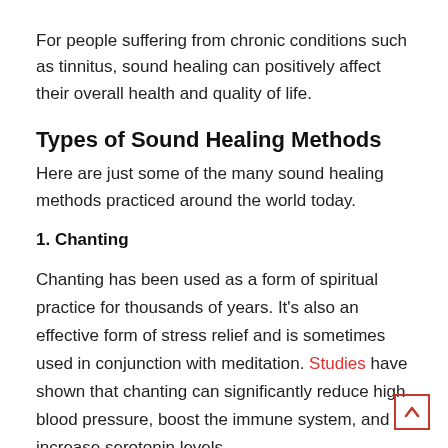For people suffering from chronic conditions such as tinnitus, sound healing can positively affect their overall health and quality of life.
Types of Sound Healing Methods
Here are just some of the many sound healing methods practiced around the world today.
1. Chanting
Chanting has been used as a form of spiritual practice for thousands of years. It's also an effective form of stress relief and is sometimes used in conjunction with meditation. Studies have shown that chanting can significantly reduce high blood pressure, boost the immune system, and increase serotonin levels.